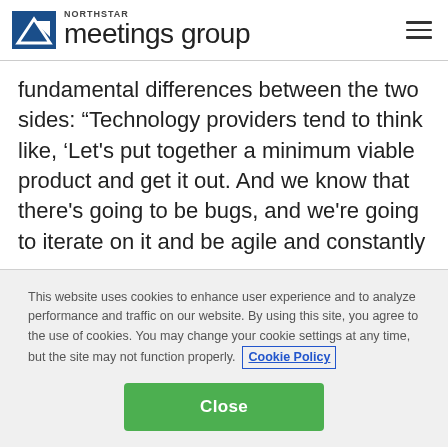[Figure (logo): Northstar Meetings Group logo with blue arrow icon and text]
fundamental differences between the two sides: “Technology providers tend to think like, ‘Let’s put together a minimum viable product and get it out. And we know that there’s going to be bugs, and we’re going to iterate on it and be agile and constantly
This website uses cookies to enhance user experience and to analyze performance and traffic on our website. By using this site, you agree to the use of cookies. You may change your cookie settings at any time, but the site may not function properly. Cookie Policy
Close